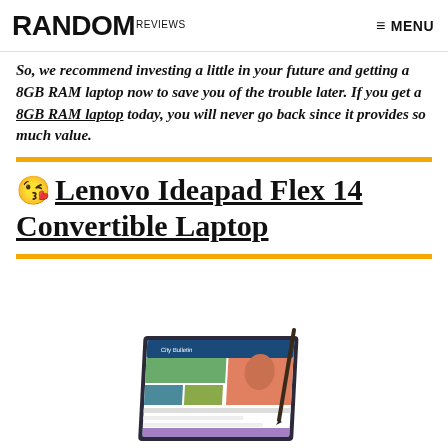RANDOM REVIEWS   ≡ MENU
So, we recommend investing a little in your future and getting a 8GB RAM laptop now to save you of the trouble later. If you get a 8GB RAM laptop today, you will never go back since it provides so much value.
😘 Lenovo Ideapad Flex 14 Convertible Laptop
[Figure (photo): Lenovo Ideapad Flex 14 convertible laptop shown in tablet mode with stylus pen, displaying a City Bulletin webpage and a portrait photo]